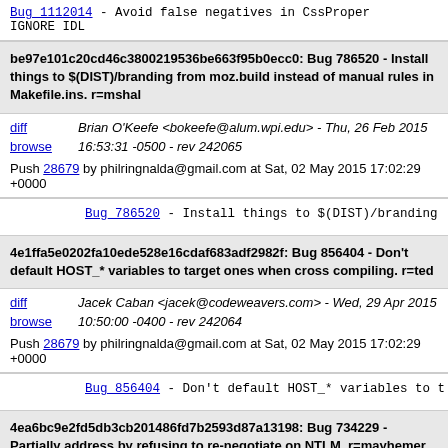Bug 1112014 - Avoid false negatives in CssProper IGNORE IDL
be97e101c20cd46c3800219536be663f95b0ecc0: Bug 786520 - Install things to $(DIST)/branding from moz.build instead of manual rules in Makefile.ins. r=mshal
Brian O'Keefe <bokeefe@alum.wpi.edu> - Thu, 26 Feb 2015 16:53:31 -0500 - rev 242065
Push 28679 by philringnalda@gmail.com at Sat, 02 May 2015 17:02:29 +0000
Bug 786520 - Install things to $(DIST)/branding
4e1ffa5e0202fa10ede528e16cdaf683adf2982f: Bug 856404 - Don't default HOST_* variables to target ones when cross compiling. r=ted
Jacek Caban <jacek@codeweavers.com> - Wed, 29 Apr 2015 10:50:00 -0400 - rev 242064
Push 28679 by philringnalda@gmail.com at Sat, 02 May 2015 17:02:29 +0000
Bug 856404 - Don't default HOST_* variables to t
4ea6bc9e2fd5db3cb201486fd7b2593d87a13198: Bug 734229 - Partially address by refusing to re-negotiate on NTLM. r=mayhemer, r=keeler
Andrew Bartlett <abartlet@samba.org> - Fri, 28 Nov 2014 11:34:06 +1300 - rev 242063
Push 28679 by philringnalda@gmail.com at Sat, 02 May 2015 17:02:29 +0000